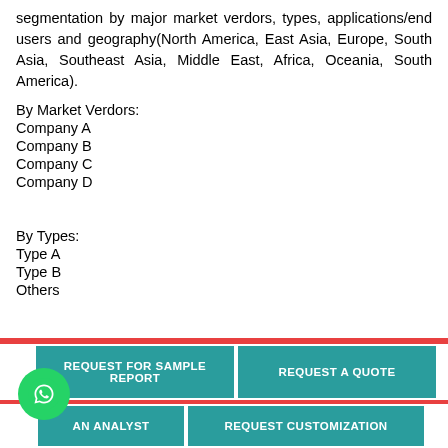segmentation by major market verdors, types, applications/end users and geography(North America, East Asia, Europe, South Asia, Southeast Asia, Middle East, Africa, Oceania, South America).
By Market Verdors:
Company A
Company B
Company C
Company D
By Types:
Type A
Type B
Others
[Figure (other): Call-to-action buttons: REQUEST FOR SAMPLE REPORT, REQUEST A QUOTE, [AN ANALYST (partial)], REQUEST CUSTOMIZATION, with WhatsApp chat button overlay]